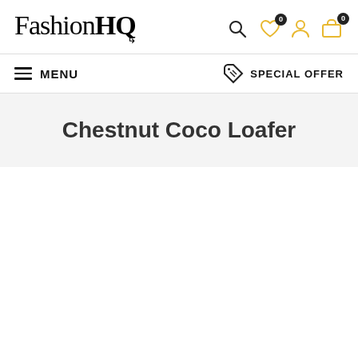FashionHQ
MENU | SPECIAL OFFER
Chestnut Coco Loafer